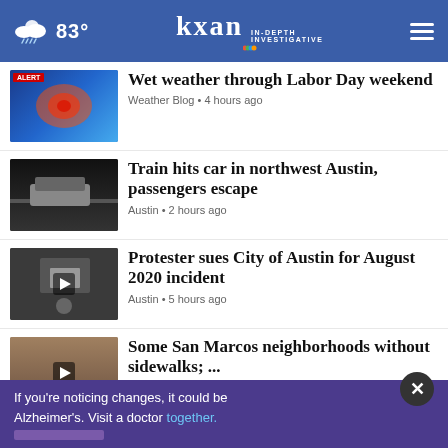83° | kxan IN-DEPTH INVESTIGATIVE
Wet weather through Labor Day weekend
Weather Blog • 4 hours ago
Train hits car in northwest Austin, passengers escape
Austin • 2 hours ago
Protester sues City of Austin for August 2020 incident
Austin • 5 hours ago
Some San Marcos neighborhoods without sidewalks; ...
San Marcos • 13 hours ago
San Antonio man sentenced for embezzling over $1M ...
Crime • 14 hours ago
[Figure (screenshot): Partially visible news item at bottom]
If you're noticing changes, it could be Alzheimer's. Visit a doctor together.